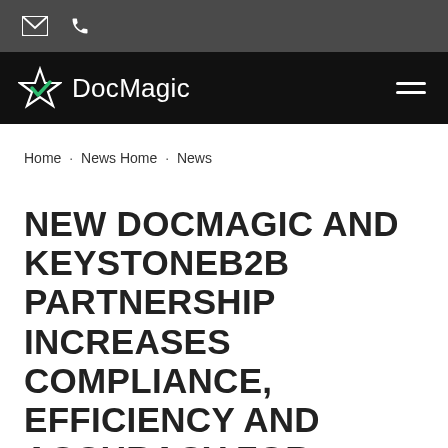DocMagic — email and phone icons utility bar
[Figure (logo): DocMagic logo with star icon and hamburger menu on black navigation bar]
Home · News Home · News
NEW DOCMAGIC AND KEYSTONEB2B PARTNERSHIP INCREASES COMPLIANCE, EFFICIENCY AND ACCURACY FOR LENDER CUSTOMERS